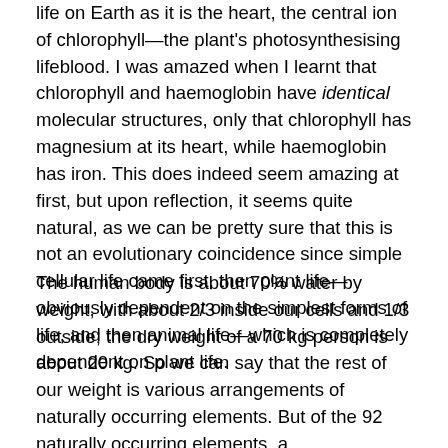life on Earth as it is the heart, the central ion of chlorophyll—the plant's photosynthesising lifeblood. I was amazed when I learnt that chlorophyll and haemoglobin have identical molecular structures, only that chlorophyll has magnesium at its heart, while haemoglobin has iron. This does indeed seem amazing at first, but upon reflection, it seems quite natural, as we can be pretty sure that this is not an evolutionary coincidence since simple cellular life came first, then plant life—obviously dependent on the simplest forms of life, and then animal life—which is completely dependent on plant life.
The human body is about 70% water by weight, with about 2/3 inside our cells and 1/3 outside; the dry weight of a 70 kg person is about 20 kg. So we can say that the rest of our weight is various arrangements of naturally occurring elements. But of the 92 naturally occurring elements, a